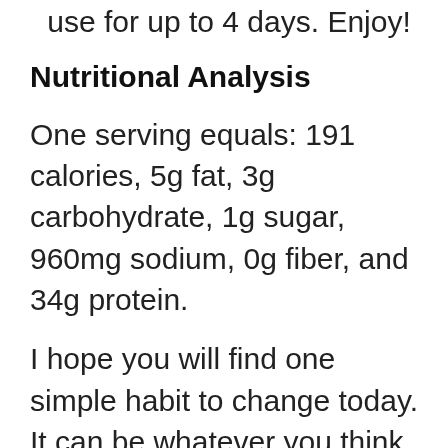use for up to 4 days. Enjoy!
Nutritional Analysis
One serving equals: 191 calories, 5g fat, 3g carbohydrate, 1g sugar, 960mg sodium, 0g fiber, and 34g protein.
I hope you will find one simple habit to change today. It can be whatever you think will make a difference in your fitness and health. One simple